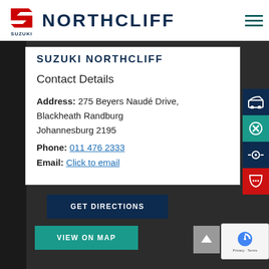SUZUKI NORTHCLIFF
SUZUKI NORTHCLIFF
Contact Details
Address: 275 Beyers Naudé Drive, Blackheath Randburg Johannesburg 2195
Phone: 011 476 2333
Email: Click to email
GET DIRECTIONS
VIEW ON MAP